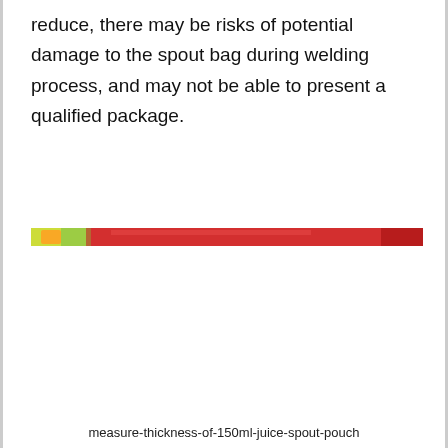reduce, there may be risks of potential damage to the spout bag during welding process, and may not be able to present a qualified package.
[Figure (photo): A narrow horizontal strip image showing a colorful juice spout pouch bag, with green and yellow on the left side and a large red section on the right, appearing to be a close-up top-edge view of the pouch.]
measure-thickness-of-150ml-juice-spout-pouch